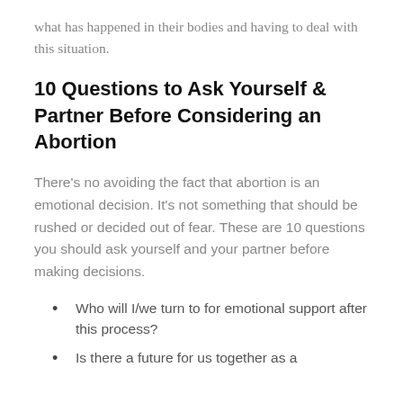what has happened in their bodies and having to deal with this situation.
10 Questions to Ask Yourself & Partner Before Considering an Abortion
There’s no avoiding the fact that abortion is an emotional decision. It’s not something that should be rushed or decided out of fear. These are 10 questions you should ask yourself and your partner before making decisions.
Who will I/we turn to for emotional support after this process?
Is there a future for us together as a